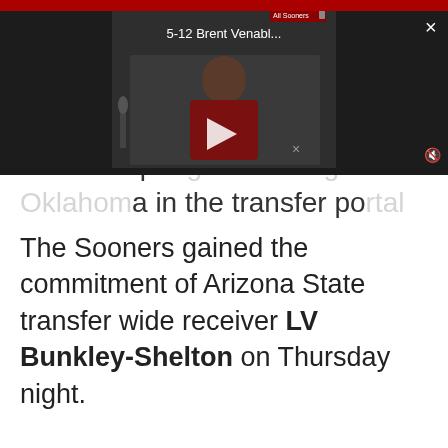[Figure (screenshot): Video player overlay showing '5-12 Brent Venabl...' with play button, All Sooners badge, close button, and mute button on dark background]
Another sp[ring] [Oklahom]a in the transfer po[rtal]
The Sooners gained the commitment of Arizona State transfer wide receiver LV Bunkley-Shelton on Thursday night.